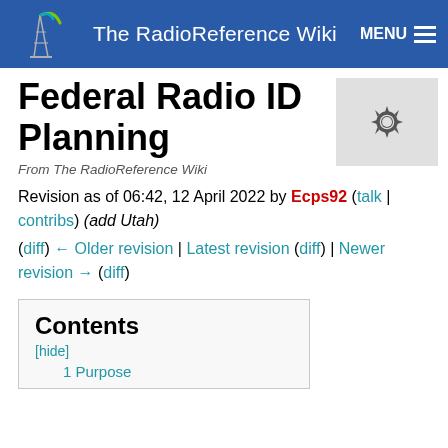The RadioReference Wiki
Federal Radio ID Planning
From The RadioReference Wiki
Revision as of 06:42, 12 April 2022 by Ecps92 (talk | contribs) (add Utah)
(diff) ← Older revision | Latest revision (diff) | Newer revision → (diff)
Contents
[hide]
1 Purpose